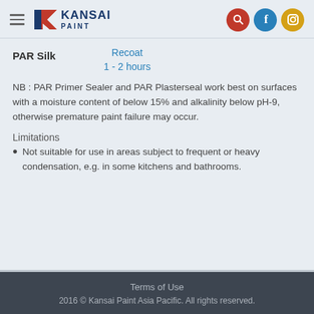Kansai Paint — navigation header with logo and social icons
PAR Silk
Recoat
1 - 2 hours
NB : PAR Primer Sealer and PAR Plasterseal work best on surfaces with a moisture content of below 15% and alkalinity below pH-9, otherwise premature paint failure may occur.
Limitations
Not suitable for use in areas subject to frequent or heavy condensation, e.g. in some kitchens and bathrooms.
Terms of Use
2016 © Kansai Paint Asia Pacific. All rights reserved.